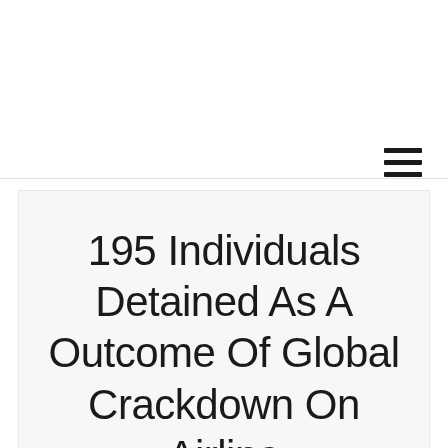[Figure (other): Hamburger menu icon with three horizontal lines in top-right area of header]
195 Individuals Detained As A Outcome Of Global Crackdown On Airline